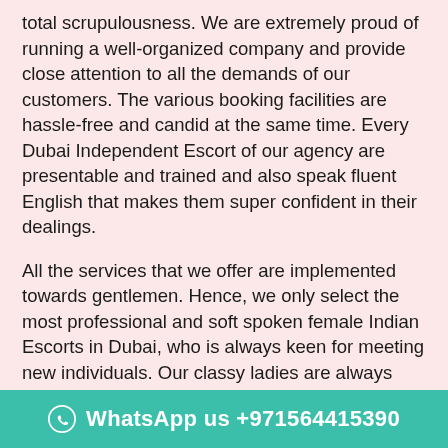total scrupulousness. We are extremely proud of running a well-organized company and provide close attention to all the demands of our customers. The various booking facilities are hassle-free and candid at the same time. Every Dubai Independent Escort of our agency are presentable and trained and also speak fluent English that makes them super confident in their dealings.
All the services that we offer are implemented towards gentlemen. Hence, we only select the most professional and soft spoken female Indian Escorts in Dubai, who is always keen for meeting new individuals. Our classy ladies are always keeping them prepared for evening and dinner dates. The appealing escorts have the ability of incorporating sheer excitement in your life. You can also take pleasure from the outcall services that are administered by our agency in three star and five star hotels. Hence, now experience a bit heaven with our cha...
WhatsApp us +971564415390